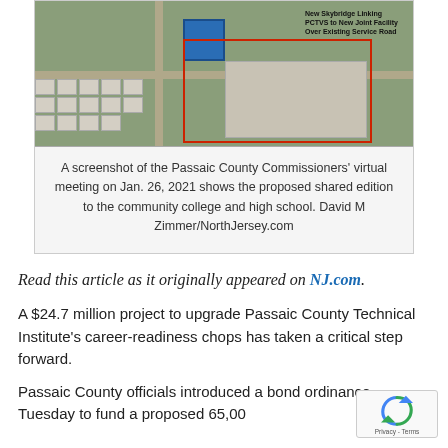[Figure (screenshot): Aerial/satellite screenshot from Passaic County Commissioners virtual meeting on Jan. 26, 2021, showing proposed shared facility addition with a blue box marker and red outline indicating new building, and a label for New Skybridge Linking PCTVS to New Joint Facility Over Existing Service Road.]
A screenshot of the Passaic County Commissioners' virtual meeting on Jan. 26, 2021 shows the proposed shared edition to the community college and high school. David M Zimmer/NorthJersey.com
Read this article as it originally appeared on NJ.com.
A $24.7 million project to upgrade Passaic County Technical Institute's career-readiness chops has taken a critical step forward.
Passaic County officials introduced a bond ordinance Tuesday to fund a proposed 65,000 square foot expansion on the W...